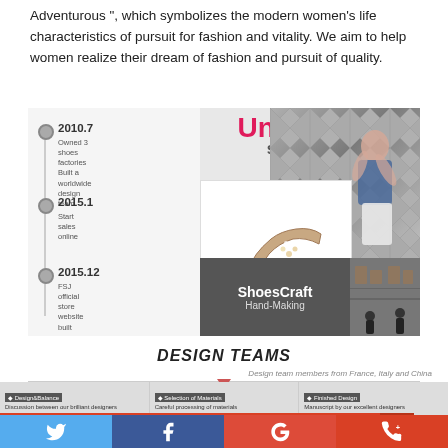Adventurous", which symbolizes the modern women's life characteristics of pursuit for fashion and vitality. We aim to help women realize their dream of fashion and pursuit of quality.
[Figure (infographic): Company timeline infographic showing milestones: 2010.7 - Owned 3 shoes factories, Built a worldwide design team; 2015.1 - Start sales online; 2015.12 - FSJ official store website built. Right panel shows 'Unique style' heading, a high-heel shoe product image, ShoesCraft Hand-Making branding, a model photo, and a shoe store interior photo.]
DESIGN TEAMS
Design team members from France, Italy and China
[Figure (infographic): Three team panel cards showing: Design&Balance - Discussion between our brilliant designers; Selection of Materials - Careful processing of materials; Finished Design - Manuscript by our excellent designers. Each with a small photo thumbnail.]